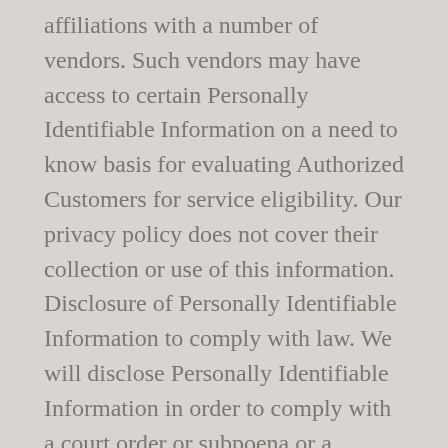affiliations with a number of vendors. Such vendors may have access to certain Personally Identifiable Information on a need to know basis for evaluating Authorized Customers for service eligibility. Our privacy policy does not cover their collection or use of this information. Disclosure of Personally Identifiable Information to comply with law. We will disclose Personally Identifiable Information in order to comply with a court order or subpoena or a request from a law enforcement agency to release information. We will also disclose Personally Identifiable Information when reasonably necessary to protect the safety of our Visitors and Authorized Customers.